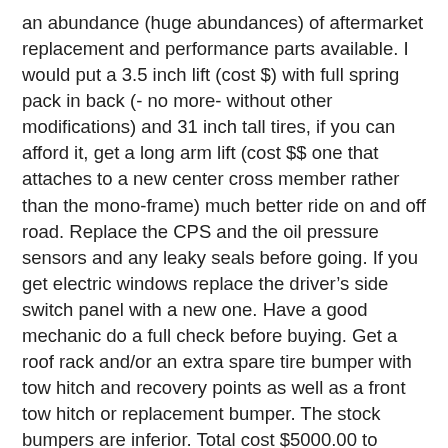an abundance (huge abundances) of aftermarket replacement and performance parts available. I would put a 3.5 inch lift (cost $) with full spring pack in back (- no more- without other modifications) and 31 inch tall tires, if you can afford it, get a long arm lift (cost $$ one that attaches to a new center cross member rather than the mono-frame) much better ride on and off road. Replace the CPS and the oil pressure sensors and any leaky seals before going. If you get electric windows replace the driver's side switch panel with a new one. Have a good mechanic do a full check before buying. Get a roof rack and/or an extra spare tire bumper with tow hitch and recovery points as well as a front tow hitch or replacement bumper. The stock bumpers are inferior. Total cost $5000.00 to $65000.00 depending on replacement /upgrades. The best part is there are 4X4 and Cherokee clubs from Alaska to Argentina that would be happy to help a fellow xj owner. (Other upgrade to consider a selectable locker in the front